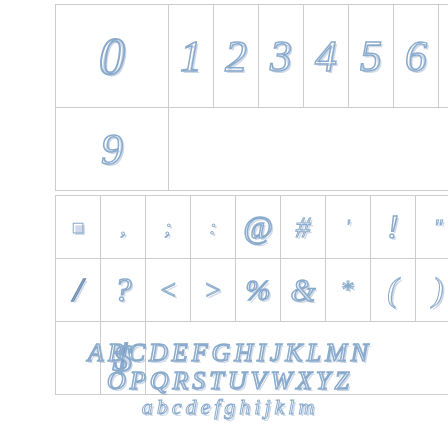[Figure (illustration): Font specimen sheet showing outlined/decorative glyphs in a grid layout. Top grid: digits 0-9. Middle grid: punctuation and special symbols including @, #, !, ?, <, >, %, &, *, (, ), $. Bottom section: full alphabet in outlined decorative style - uppercase A-Z and lowercase a-m visible.]